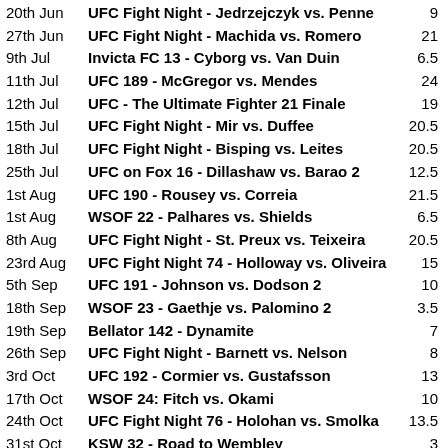20th Jun  UFC Fight Night - Jedrzejczyk vs. Penne  9
27th Jun  UFC Fight Night - Machida vs. Romero  21
9th Jul  Invicta FC 13 - Cyborg vs. Van Duin  6.5
11th Jul  UFC 189 - McGregor vs. Mendes  24
12th Jul  UFC - The Ultimate Fighter 21 Finale  19
15th Jul  UFC Fight Night - Mir vs. Duffee  20.5
18th Jul  UFC Fight Night - Bisping vs. Leites  20.5
25th Jul  UFC on Fox 16 - Dillashaw vs. Barao 2  12.5
1st Aug  UFC 190 - Rousey vs. Correia  21.5
1st Aug  WSOF 22 - Palhares vs. Shields  6.5
8th Aug  UFC Fight Night - St. Preux vs. Teixeira  20.5
23rd Aug  UFC Fight Night 74 - Holloway vs. Oliveira  15
5th Sep  UFC 191 - Johnson vs. Dodson 2  10
18th Sep  WSOF 23 - Gaethje vs. Palomino 2  3.5
19th Sep  Bellator 142 - Dynamite  7
26th Sep  UFC Fight Night - Barnett vs. Nelson  8
3rd Oct  UFC 192 - Cormier vs. Gustafsson  13
17th Oct  WSOF 24: Fitch vs. Okami  10
24th Oct  UFC Fight Night 76 - Holohan vs. Smolka  13.5
31st Oct  KSW 32 - Road to Wembley  3
6th Nov  Bellator 145 - Vengeance  11.5
7th Nov  UFC Fight Night 77: Belfort vs. Henderson 3  13
14th Nov  UFC 193 - Rousey vs. Holm  21
20th Nov  Bellator 146: Kato vs. Manhoef  14
21st Nov  UFC Fight Night 78 - Magny vs. Gastelum  7